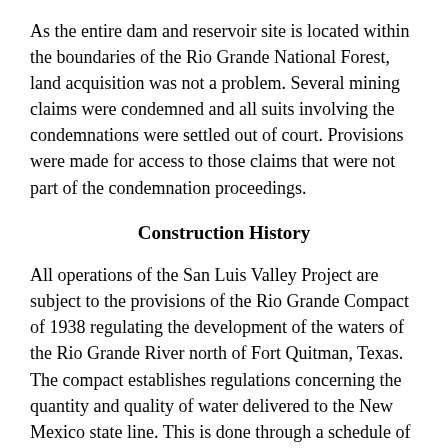As the entire dam and reservoir site is located within the boundaries of the Rio Grande National Forest, land acquisition was not a problem. Several mining claims were condemned and all suits involving the condemnations were settled out of court. Provisions were made for access to those claims that were not part of the condemnation proceedings.
Construction History
All operations of the San Luis Valley Project are subject to the provisions of the Rio Grande Compact of 1938 regulating the development of the waters of the Rio Grande River north of Fort Quitman, Texas. The compact establishes regulations concerning the quantity and quality of water delivered to the New Mexico state line. This is done through a schedule of delivery based upon the inflow and outflow of water in the San Luis Valley for the years 1928 through 1937. Under the compact, storage projects in Colorado may only store water in excess of the amount required for delivery to the New Mexico state line. If the schedule is not met, it results in a debit that